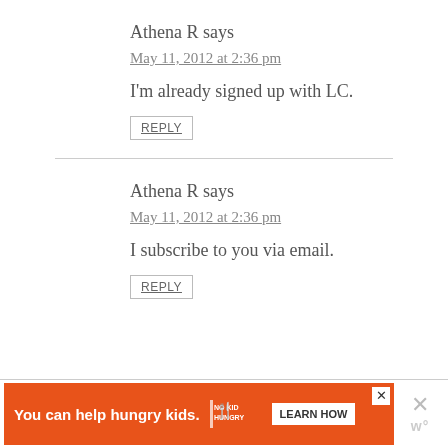Athena R says
May 11, 2012 at 2:36 pm
I'm already signed up with LC.
REPLY
Athena R says
May 11, 2012 at 2:36 pm
I subscribe to you via email.
REPLY
[Figure (other): Advertisement banner: orange background with text 'You can help hungry kids.' and No Kid Hungry logo and LEARN HOW button]